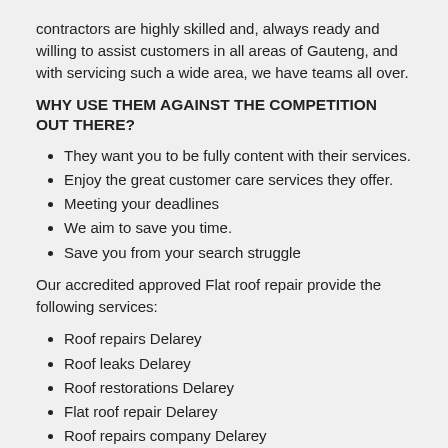contractors are highly skilled and, always ready and willing to assist customers in all areas of Gauteng, and with servicing such a wide area, we have teams all over.
WHY USE THEM AGAINST THE COMPETITION OUT THERE?
They want you to be fully content with their services.
Enjoy the great customer care services they offer.
Meeting your deadlines
We aim to save you time.
Save you from your search struggle
Our accredited approved Flat roof repair provide the following services:
Roof repairs Delarey
Roof leaks Delarey
Roof restorations Delarey
Flat roof repair Delarey
Roof repairs company Delarey
Flat roof leak repair Delarey
Slate roofing repairs Delarey
Roofing contractor Delarey
Roofing installations Delarey
Flat roof repairs Delarey
Leaking flat roof repair Delarey
Roof repair contractors Delarey
Roof specialists Delarey
Roof contractor Delarey